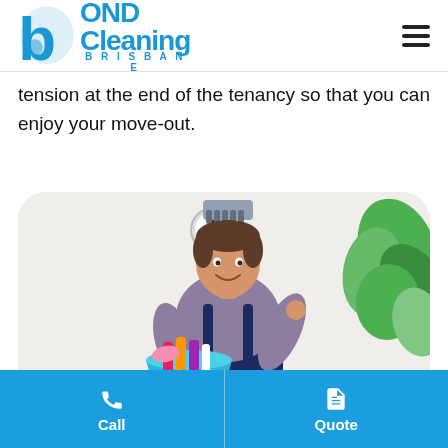Bond Cleaning Brisbane
tension at the end of the tenancy so that you can enjoy your move-out.
[Figure (photo): A smiling male cleaner in navy overalls holding a mop over his shoulder and a bucket full of cleaning supplies, standing in front of a white wall with tropical leaf decor and a clock.]
Call | Quote